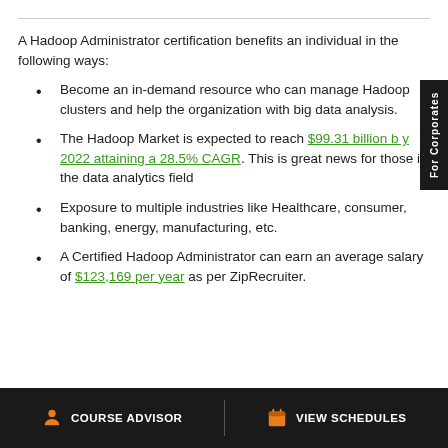A Hadoop Administrator certification benefits an individual in the following ways:
Become an in-demand resource who can manage Hadoop clusters and help the organization with big data analysis.
The Hadoop Market is expected to reach $99.31 billion by 2022 attaining a 28.5% CAGR. This is great news for those in the data analytics field
Exposure to multiple industries like Healthcare, consumer, banking, energy, manufacturing, etc.
A Certified Hadoop Administrator can earn an average salary of $123,169 per year as per ZipRecruiter.
COURSE ADVISOR | VIEW SCHEDULES